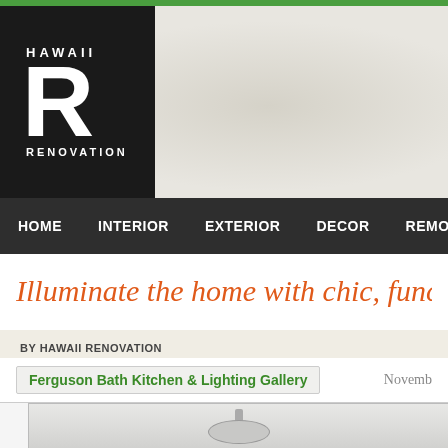[Figure (logo): Hawaii Renovation logo: black box with large white R and HAWAII text above, RENOVATION text below]
HOME   INTERIOR   EXTERIOR   DECOR   REMODEL   I
Illuminate the home with chic, funct
BY HAWAII RENOVATION
Ferguson Bath Kitchen & Lighting Gallery   November
[Figure (photo): Ceiling-mounted flush light fixture, silver/brushed nickel ring with white glass diffuser, shown against light grey ceiling]